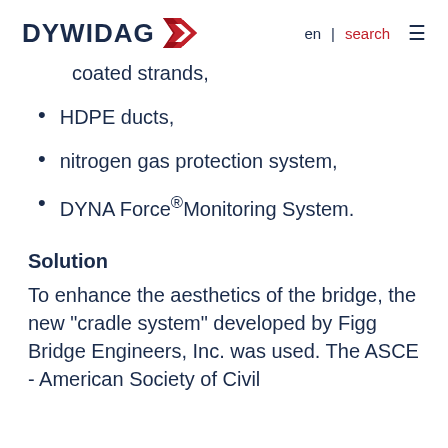DYWIDAG | en | search
coated strands,
HDPE ducts,
nitrogen gas protection system,
DYNA Force®Monitoring System.
Solution
To enhance the aesthetics of the bridge, the new "cradle system" developed by Figg Bridge Engineers, Inc. was used. The ASCE - American Society of Civil